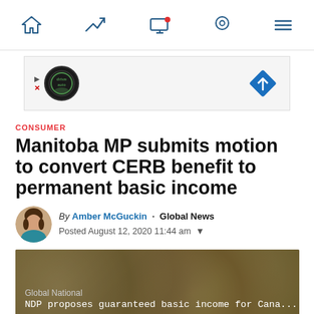Navigation bar with home, trending, screen, location, and menu icons
[Figure (screenshot): Advertisement banner with DriveAuto logo and blue diamond directional sign icon]
CONSUMER
Manitoba MP submits motion to convert CERB benefit to permanent basic income
By Amber McGuckin · Global News
Posted August 12, 2020 11:44 am
[Figure (screenshot): Video thumbnail showing coins background with text: Global National / NDP proposes guaranteed basic income for Cana...]